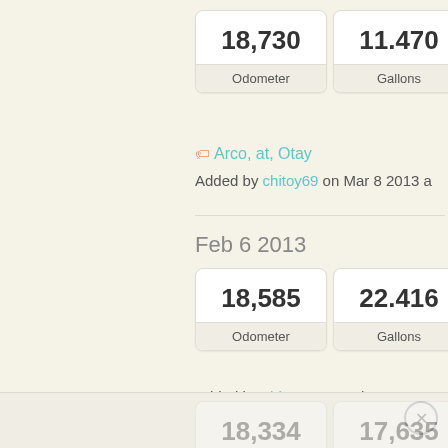| Value | Label |
| --- | --- |
| 18,730 | Odometer |
| 11.470 | Gallons |
Arco, at, Otay
Added by chitoy69 on Mar 8 2013 a
Feb 6 2013
| Value | Label |
| --- | --- |
| 18,585 | Odometer |
| 22.416 | Gallons |
Added by chitoy69 on Feb 6 2013 a
Dec 14 2012
| Value | Label |
| --- | --- |
| 18,334 |  |
| 17,635 |  |